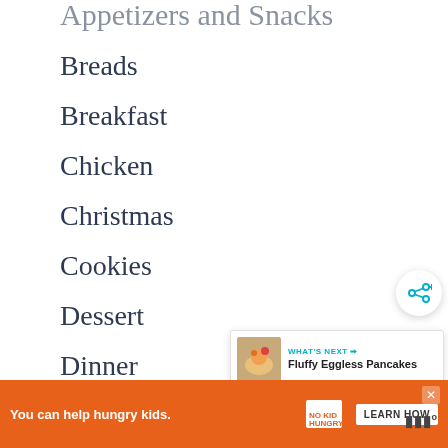Appetizers and Snacks
Breads
Breakfast
Chicken
Christmas
Cookies
Dessert
Dinner
Dinner
Drinks
You can help hungry kids. LEARN HOW